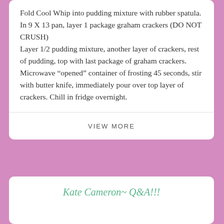Fold Cool Whip into pudding mixture with rubber spatula.
In 9 X 13 pan, layer 1 package graham crackers (DO NOT CRUSH)
Layer 1/2 pudding mixture, another layer of crackers, rest of pudding, top with last package of graham crackers.
Microwave “opened” container of frosting 45 seconds, stir with butter knife, immediately pour over top layer of crackers. Chill in fridge overnight.
VIEW MORE
Kate Cameron~ Q&A!!!